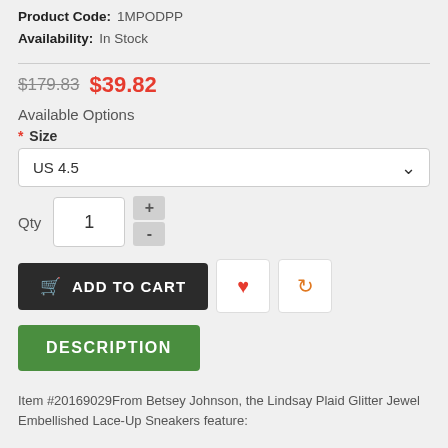Product Code: 1MPODPP
Availability: In Stock
$179.83 $39.82
Available Options
* Size
US 4.5
Qty 1
[Figure (other): Add to Cart button, heart (wishlist) button, and refresh (compare) button]
[Figure (other): DESCRIPTION green button]
Item #20169029From Betsey Johnson, the Lindsay Plaid Glitter Jewel Embellished Lace-Up Sneakers feature: